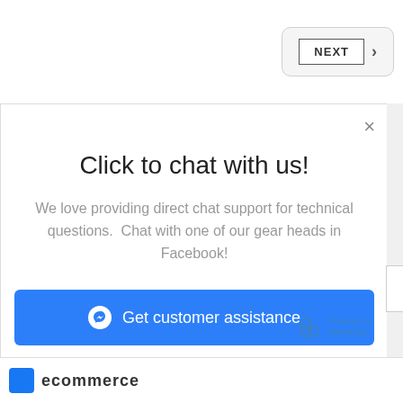[Figure (screenshot): NEXT button with right chevron arrow in a rounded rectangle container]
[Figure (screenshot): Close (X) button for the chat popup]
Click to chat with us!
We love providing direct chat support for technical questions.  Chat with one of our gear heads in Facebook!
[Figure (screenshot): Blue 'Get customer assistance' button with Messenger icon]
[Figure (logo): ManyChat logo with 'Powered by ManyChat' text]
[Figure (screenshot): Bottom bar with Facebook logo partial and ecommerce text]